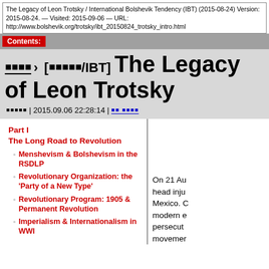The Legacy of Leon Trotsky / International Bolshevik Tendency (IBT) (2015-08-24) Version: 2015-08-24. — Visited: 2015-09-06 — URL: http://www.bolshevik.org/trotsky/ibt_20150824_trotsky_intro.html
홈페이지 › [번역문/IBT] The Legacy of Leon Trotsky   번역비교 | 2015.09.06 22:28:14 | 원문 번역비교
Part I
The Long Road to Revolution
Menshevism & Bolshevism in the RSDLP
Revolutionary Organization: the 'Party of a New Type'
Revolutionary Program: 1905 & Permanent Revolution
Imperialism & Internationalism in WWI
On 21 Au... head inju... Mexico. C... modern e... persecut... movemer...